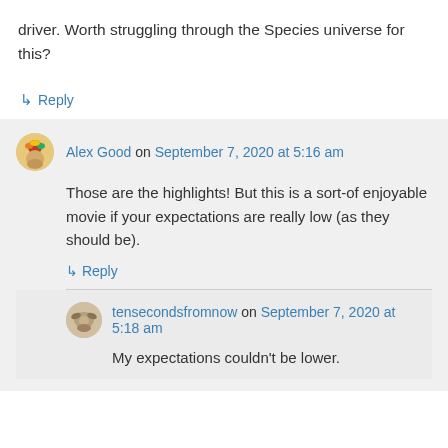driver. Worth struggling through the Species universe for this?
↳ Reply
Alex Good on September 7, 2020 at 5:16 am
Those are the highlights! But this is a sort-of enjoyable movie if your expectations are really low (as they should be).
↳ Reply
tensecondsfromnow on September 7, 2020 at 5:18 am
My expectations couldn't be lower.